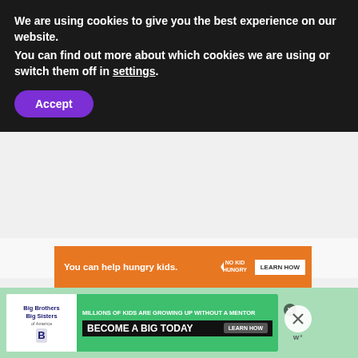We are using cookies to give you the best experience on our website.
You can find out more about which cookies we are using or switch them off in settings.
Accept
[Figure (infographic): Orange ad banner: 'You can help hungry kids.' with No Kid Hungry logo and 'LEARN HOW' button]
[Figure (infographic): Purple heart/favorite button icon]
[Figure (infographic): White share button icon]
WHAT'S NEXT → Why Gossip Might Be Mo...
[Figure (infographic): Bottom advertisement banner: Big Brothers Big Sisters - 'MILLIONS OF KIDS ARE GROWING UP WITHOUT A MENTOR. BECOME A BIG TODAY' with Learn How button]